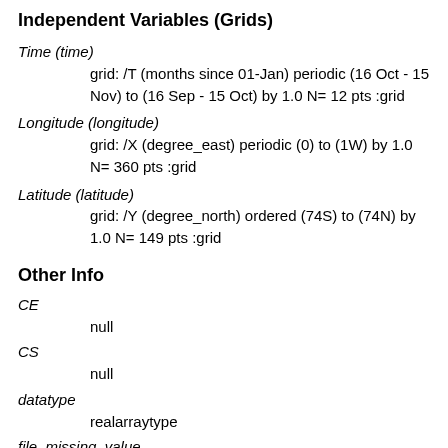Independent Variables (Grids)
Time (time)
    grid: /T (months since 01-Jan) periodic (16 Oct - 15 Nov) to (16 Sep - 15 Oct) by 1.0 N= 12 pts :grid
Longitude (longitude)
    grid: /X (degree_east) periodic (0) to (1W) by 1.0 N= 360 pts :grid
Latitude (latitude)
    grid: /Y (degree_north) ordered (74S) to (74N) by 1.0 N= 149 pts :grid
Other Info
CE
    null
CS
    null
datatype
    realarraytype
file_missing_value
    999.0
missing_value
    NaN...